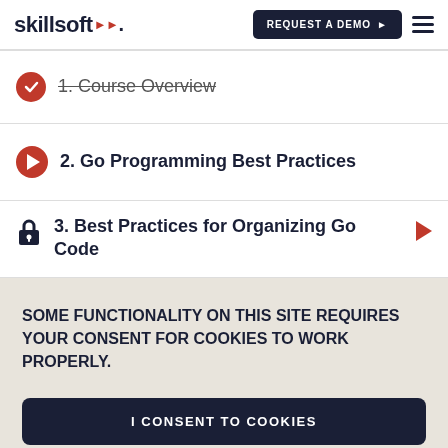skillsoft | REQUEST A DEMO
1. Course Overview
2. Go Programming Best Practices
3. Best Practices for Organizing Go Code
SOME FUNCTIONALITY ON THIS SITE REQUIRES YOUR CONSENT FOR COOKIES TO WORK PROPERLY.
I CONSENT TO COOKIES
I WANT MORE INFORMATION